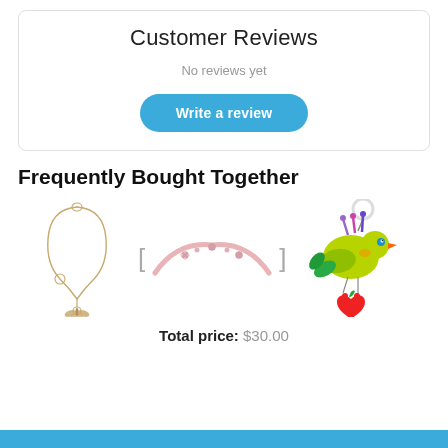Customer Reviews
No reviews yet
Write a review
Frequently Bought Together
[Figure (photo): Three product images shown side by side: a gold butterfly necklace on the left, a pink/rose gold headband with decorative accents in the center, and a colorful bird toy with a ring on the right. Bracket separators between products.]
Total price: $30.00